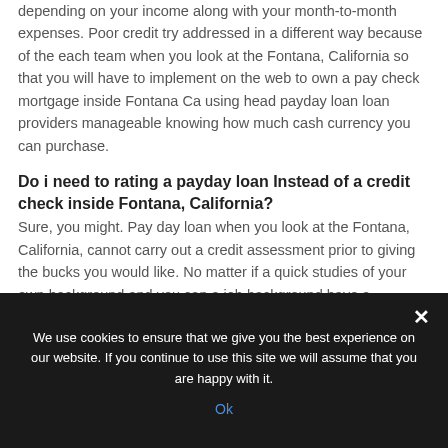depending on your income along with your month-to-month expenses. Poor credit try addressed in a different way because of the each team when you look at the Fontana, California so that you will have to implement on the web to own a pay check mortgage inside Fontana Ca using head payday loan loan providers manageable knowing how much cash currency you can purchase.
Do i need to rating a payday loan Instead of a credit check inside Fontana, California?
Sure, you might. Pay day loan when you look at the Fontana, California, cannot carry out a credit assessment prior to giving the bucks you would like. No matter if a quick studies of your own background and you can a job background have a tendency to be manufactured, the
We use cookies to ensure that we give you the best experience on our website. If you continue to use this site we will assume that you are happy with it.
Ok